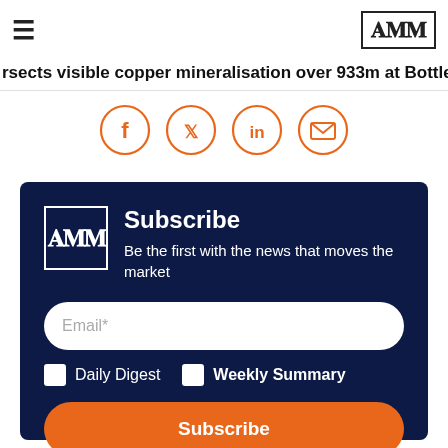ΞΙΙ (logo badge)
rsects visible copper mineralisation over 933m at Bottletree AM7
[Figure (other): Social share icons: Facebook, Twitter, LinkedIn, Email — orange circle outlines]
Subscribe
Be the first with the news that moves the market
Email*
Daily Digest  Weekly Summary
Subscribe